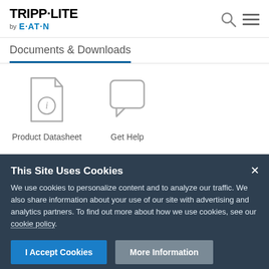[Figure (logo): Tripp-Lite by Eaton logo in header]
Documents & Downloads
[Figure (illustration): Product Datasheet icon - document with info symbol]
Product Datasheet
[Figure (illustration): Get Help icon - speech bubble]
Get Help
This Site Uses Cookies
We use cookies to personalize content and to analyze our traffic. We also share information about your use of our site with advertising and analytics partners. To find out more about how we use cookies, see our cookie policy.
I Accept Cookies
More Information